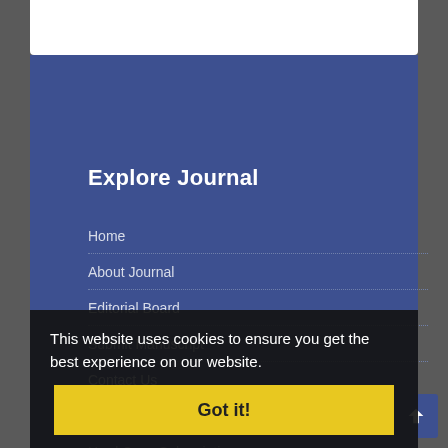Explore Journal
Home
About Journal
Editorial Board
Submit Manuscript
Contact Us
Glossary
Hard Copy Subscription
Latest News
Announcement for new PDF format 2021-01-01
Cooperation with JAEHR Journal 2021-02-06
This website uses cookies to ensure you get the best experience on our website.
Got it!